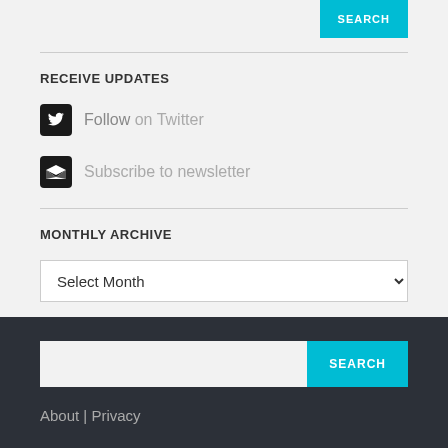RECEIVE UPDATES
Follow on Twitter
Subscribe to newsletter
MONTHLY ARCHIVE
Select Month
SEARCH
About | Privacy